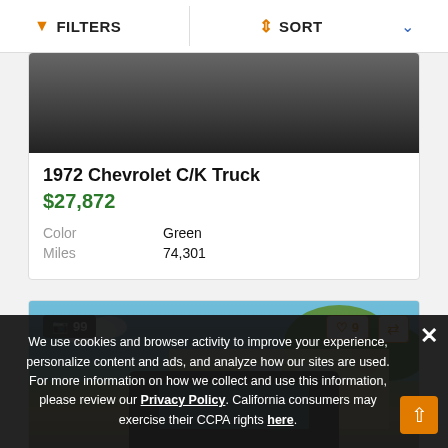FILTERS  SORT
[Figure (photo): Partial photo of a 1972 Chevrolet C/K Truck, dark colored, seen from above/rear, on dark pavement]
1972 Chevrolet C/K Truck
$27,872
|  |  |
| --- | --- |
| Color | Green |
| Miles | 74,301 |
[Figure (photo): Photo of a classic truck (front view), parked near a house with trees and blue sky in background. Badge showing 99 photos, heart icon with 9 saves, compare icon.]
We use cookies and browser activity to improve your experience, personalize content and ads, and analyze how our sites are used. For more information on how we collect and use this information, please review our Privacy Policy. California consumers may exercise their CCPA rights here.